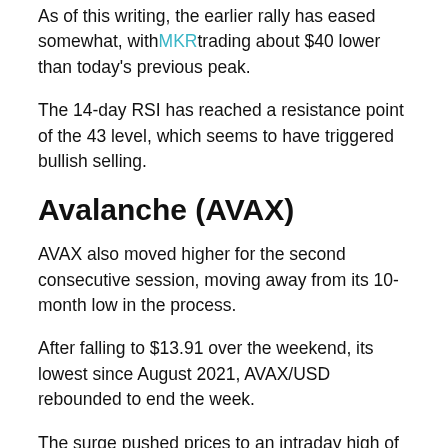As of this writing, the earlier rally has eased somewhat, with MKR trading about $40 lower than today's previous peak.
The 14-day RSI has reached a resistance point of the 43 level, which seems to have triggered bullish selling.
Avalanche (AVAX)
AVAX also moved higher for the second consecutive session, moving away from its 10-month low in the process.
After falling to $13.91 over the weekend, its lowest since August 2021, AVAX/USD rebounded to end the week.
The surge pushed prices to an intraday high of